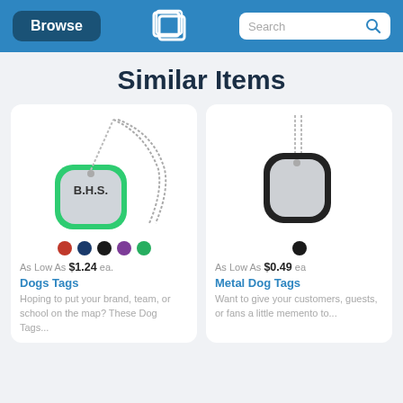Browse | [logo] | Search
Similar Items
[Figure (photo): Dog tag on a ball chain necklace with green rubber edge and text B.H.S. engraved, with color swatches (red, navy, black, purple, green)]
As Low As $1.24 ea.
Dogs Tags
Hoping to put your brand, team, or school on the map? These Dog Tags...
[Figure (photo): Plain metal dog tag on a ball chain necklace with black rubber edge, with black color swatch]
As Low As $0.49 ea
Metal Dog Tags
Want to give your customers, guests, or fans a little memento to...